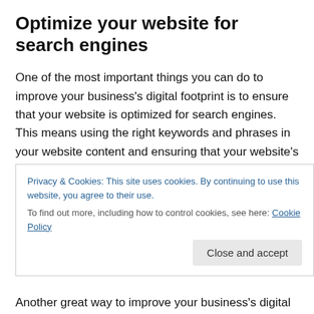Optimize your website for search engines
One of the most important things you can do to improve your business's digital footprint is to ensure that your website is optimized for search engines. This means using the right keywords and phrases in your website content and ensuring that your website's code is clean and free of errors.
Another great way to improve your business's digital footprint is to make use of pay-per-click advertising.
Privacy & Cookies: This site uses cookies. By continuing to use this website, you agree to their use. To find out more, including how to control cookies, see here: Cookie Policy
Another great way to improve your business's digital